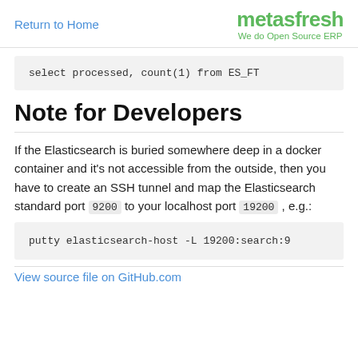Return to Home | metasfresh We do Open Source ERP
select processed, count(1) from ES_FT
Note for Developers
If the Elasticsearch is buried somewhere deep in a docker container and it's not accessible from the outside, then you have to create an SSH tunnel and map the Elasticsearch standard port 9200 to your localhost port 19200 , e.g.:
putty elasticsearch-host -L 19200:search:9
View source file on GitHub.com